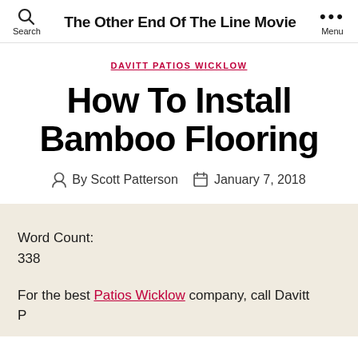The Other End Of The Line Movie
DAVITT PATIOS WICKLOW
How To Install Bamboo Flooring
By Scott Patterson   January 7, 2018
Word Count:
338
For the best Patios Wicklow company, call Davitt P...